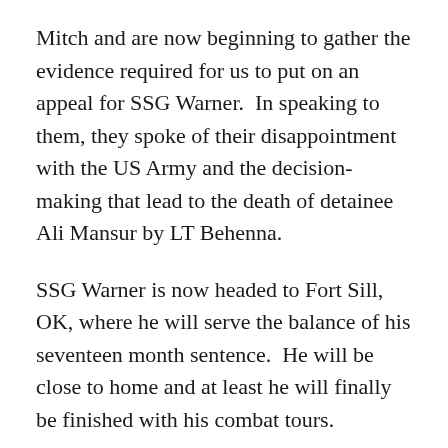Mitch and are now beginning to gather the evidence required for us to put on an appeal for SSG Warner.  In speaking to them, they spoke of their disappointment with the US Army and the decision-making that lead to the death of detainee Ali Mansur by LT Behenna.
SSG Warner is now headed to Fort Sill, OK, where he will serve the balance of his seventeen month sentence.  He will be close to home and at least he will finally be finished with his combat tours.